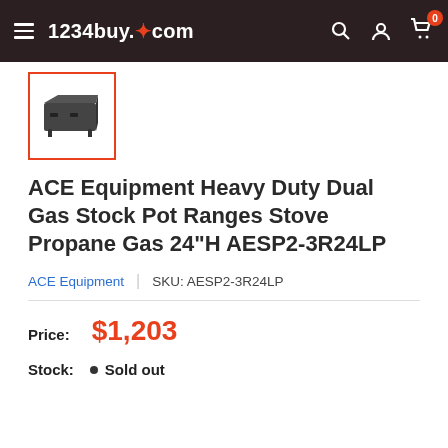1234buy.com
[Figure (photo): Small thumbnail image of a dual gas stock pot range stove, shown in a square with an orange border]
ACE Equipment Heavy Duty Dual Gas Stock Pot Ranges Stove Propane Gas 24"H AESP2-3R24LP
ACE Equipment | SKU: AESP2-3R24LP
Price: $1,203
Stock: • Sold out